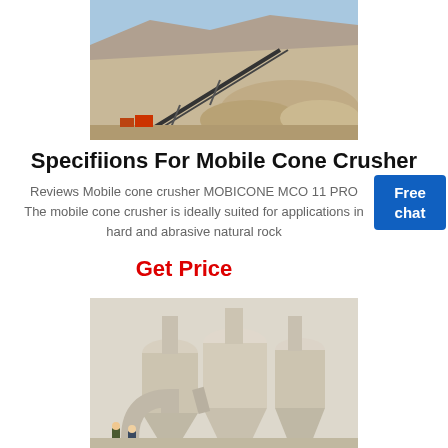[Figure (photo): Outdoor quarry/mining site with conveyor belt and piles of crushed stone/aggregate material, rocky hillside in background]
Specifiions For Mobile Cone Crusher
Reviews Mobile cone crusher MOBICONE MCO 11 PRO The mobile cone crusher is ideally suited for applications in hard and abrasive natural rock
Get Price
[Figure (photo): Industrial grinding mill equipment with large cyclone separators/dust collectors inside a factory building, workers visible at base]